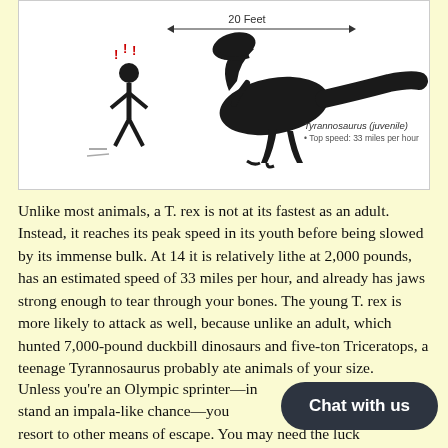[Figure (illustration): Silhouette infographic showing a running human stick figure being chased by a juvenile Tyrannosaurus rex. A double-headed arrow above the dinosaur reads '20 Feet'. The label next to the dinosaur reads 'Tyrannosaurus (juvenile) • Top speed: 33 miles per hour'. The human figure has red exclamation marks above its head.]
Unlike most animals, a T. rex is not at its fastest as an adult. Instead, it reaches its peak speed in its youth before being slowed by its immense bulk. At 14 it is relatively lithe at 2,000 pounds, has an estimated speed of 33 miles per hour, and already has jaws strong enough to tear through your bones. The young T. rex is more likely to attack as well, because unlike an adult, which hunted 7,000-pound duckbill dinosaurs and five-ton Triceratops, a teenage Tyrannosaurus probably ate animals of your size.
Unless you're an Olympic sprinter—in may stand an impala-like chance—you resort to other means of escape. You may need the luck